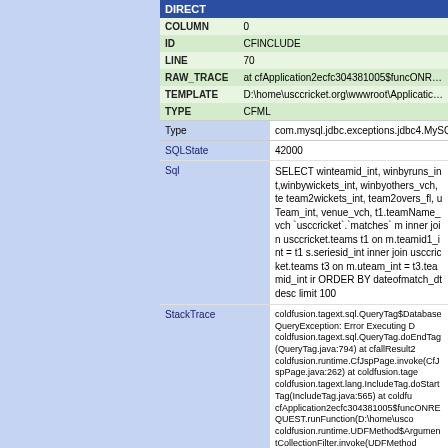| DIRECT |
| --- |
| COLUMN | 0 |
| ID | CFINCLUDE |
| LINE | 70 |
| RAW_TRACE | at cfApplication2ecfc304381005$funcONR... |
| TEMPLATE | D:\home\usccricket.org\wwwroot\Applicatio... |
| TYPE | CFML |
| Type | SQLState | Sql | StackTrace |
| --- | --- | --- | --- |
| Type | com.mysql.jdbc.exceptions.jdbc4.MySQLSyntaxErrorException... |
| SQLState | 42000 |
| Sql | SELECT winteamid_int, winbyruns_int,winbywickets_int, winbyothers_vch, te team2wickets_int, team2overs_fl, uTeam_int, venue_vch, t1.teamName_vch `usccricket`.`matches` m inner join usccricket.teams t1 on m.teamid1_int = t1 s.seriesid_int inner join usccricket.teams t3 on m.uteam_int = t3.teamid_int ir ORDER BY dateofmatch_dt desc limit 100 |
| StackTrace | coldfusion.tagext.sql.QueryTag$DatabaseQueryException: Error Executing D coldfusion.tagext.sql.QueryTag.doEndTag(QueryTag.java:794) at cfallResult2 coldfusion.runtime.CfJspPage.invoke(CfJspPage.java:262) at coldfusion.tage coldfusion.tagext.lang.IncludeTag.doStartTag(IncludeTag.java:565) at coldfu cfApplication2ecfc304381005$funcONREQUEST.runFunction(D:\home\usco coldfusion.runtime.UDFMethod$ArgumentCollectionFilter.invoke(UDFMethod coldfusion.runtime.UDFMethod.runFilterChain(UDFMethod.java:399) at coldf coldfusion.runtime.UDFMethod.invoke(UDFMethod.java:288) at coldfusion.ru at coldfusion.runtime.TemplateProxy.invoke(TemplateProxy.java:438) at coldf coldfusion.runtime.AppEventInvoker.onRequest(AppEventInvoker.java:308) a coldfusion.filter.RequestMonitorFilter.invoke(RequestMonitorFilter.java:43) at coldfusion.filter.IpFilter.invoke(IpFilter.java:45) at coldfusion.filter.ExceptionFil coldfusion.filter.ClientScopePersistenceFilter.invoke(ClientScopePersistence coldfusion.filter.NoCacheFilter.invoke(NoCacheFilter.java:60) at coldfusion.filt coldfusion.filter.CachingFilter.invoke(CachingFilter.java:62) at coldfusion.Cfm jdk.internal.reflect.GeneratedMethodAccessor59.invoke(Unknown Source) at java.base/java.lang.reflect.Method.invoke(Method.java:564) at org.apache.ca java.base/java.security.AccessController.doPrivileged(Native Method) at java org.apache.catalina.security.SecurityUtil.execute(SecurityUtil.java:311) at org org.apache.catalina.core.ApplicationFilterChain.internalDoFilter(ApplicationF java.base/java.security.AccessController.doPrivileged(Native Method) at org. coldfusion.monitor.event.MonitoringServletFilter.doFilter(MonitoringServletFilt jdk.internal.reflect.GeneratedMethodAccessor56.invoke(Unknown Source) at |